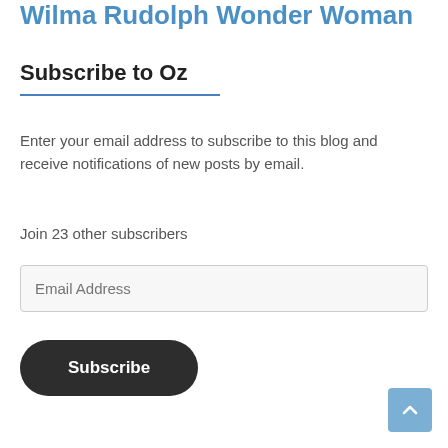Wilma Rudolph Wonder Woman
Subscribe to Oz
Enter your email address to subscribe to this blog and receive notifications of new posts by email.
Join 23 other subscribers
Email Address
Subscribe